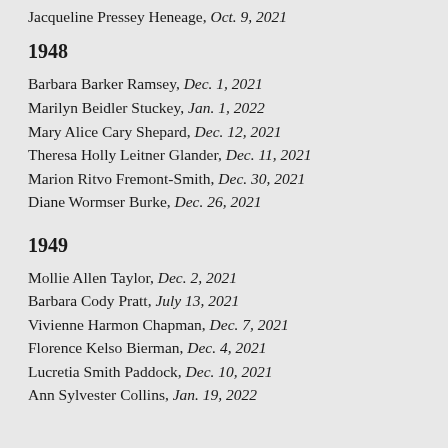Jacqueline Pressey Heneage, Oct. 9, 2021
1948
Barbara Barker Ramsey, Dec. 1, 2021
Marilyn Beidler Stuckey, Jan. 1, 2022
Mary Alice Cary Shepard, Dec. 12, 2021
Theresa Holly Leitner Glander, Dec. 11, 2021
Marion Ritvo Fremont-Smith, Dec. 30, 2021
Diane Wormser Burke, Dec. 26, 2021
1949
Mollie Allen Taylor, Dec. 2, 2021
Barbara Cody Pratt, July 13, 2021
Vivienne Harmon Chapman, Dec. 7, 2021
Florence Kelso Bierman, Dec. 4, 2021
Lucretia Smith Paddock, Dec. 10, 2021
Ann Sylvester Collins, Jan. 19, 2022